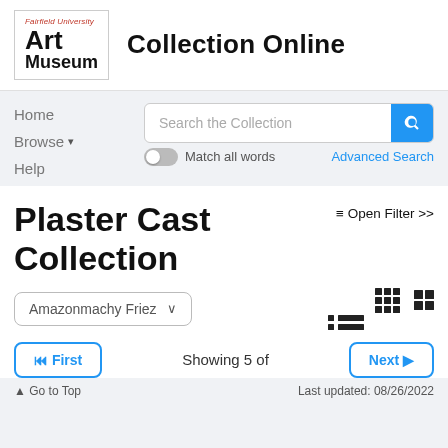Fairfield University Art Museum — Collection Online
Home
Browse
Help
Plaster Cast Collection
≡ Open Filter >>
Amazonmachy Frieze (dropdown)
Showing 5 of
↑ Go to Top    Last updated: 08/26/2022